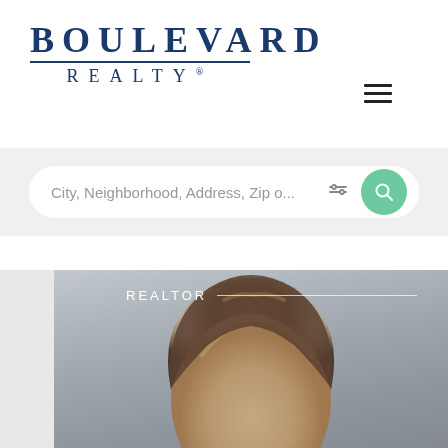[Figure (logo): Boulevard Realty logo with large serif text BOULEVARD above a horizontal rule and REALTY with registered trademark symbol]
[Figure (screenshot): Hamburger menu icon (three horizontal lines) in top right corner]
[Figure (screenshot): Search bar with placeholder text 'City, Neighborhood, Address, Zip o...' with filter icon and green circular search button]
[Figure (photo): Realtor headshot photo partially visible, showing top of head with brown highlighted hair, gray background, with REALTOR label and white horizontal line overlay in top left]